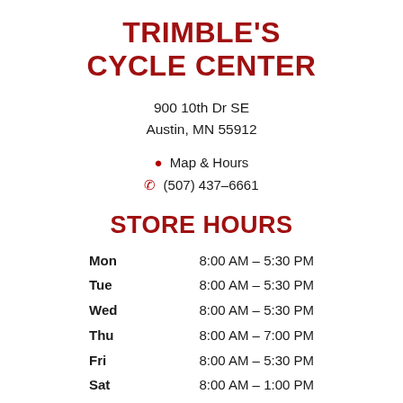TRIMBLE'S CYCLE CENTER
900 10th Dr SE
Austin, MN 55912
Map & Hours
(507) 437-6661
STORE HOURS
| Day | Hours |
| --- | --- |
| Mon | 8:00 AM – 5:30 PM |
| Tue | 8:00 AM – 5:30 PM |
| Wed | 8:00 AM – 5:30 PM |
| Thu | 8:00 AM – 7:00 PM |
| Fri | 8:00 AM – 5:30 PM |
| Sat | 8:00 AM – 1:00 PM |
| Sun | Closed |